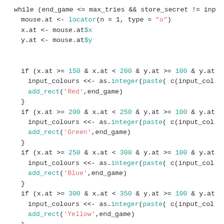[Figure (screenshot): R code snippet showing a while loop with mouse locator input and color-based if conditions (Red, Green, Blue, Yellow), followed by a game-won check using if/par/mtext.]